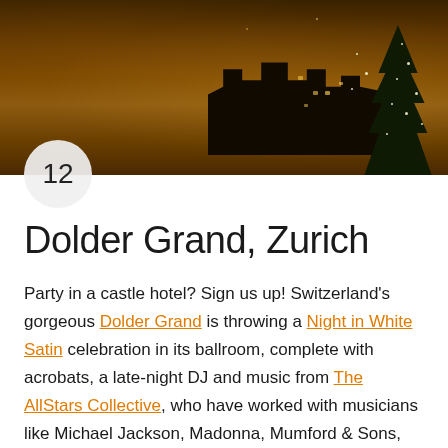[Figure (photo): Night-time photo of a castle/grand hotel illuminated with warm golden lights, with snow-covered Christmas trees in the foreground, dark amber sky background]
12
Dolder Grand, Zurich
Party in a castle hotel? Sign us up! Switzerland’s gorgeous Dolder Grand is throwing a Night in White Satin celebration in its ballroom, complete with acrobats, a late-night DJ and music from The AllStars Collective, who have worked with musicians like Michael Jackson, Madonna, Mumford & Sons, Prince, Eric Clapton, and more. Foodies should make a beeline for The Restaurant; the two Michelin-starred spot will